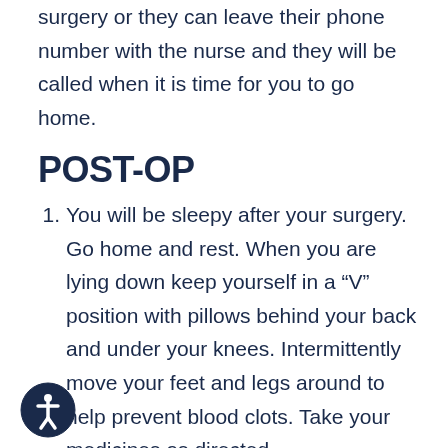surgery or they can leave their phone number with the nurse and they will be called when it is time for you to go home.
POST-OP
You will be sleepy after your surgery. Go home and rest. When you are lying down keep yourself in a “V” position with pillows behind your back and under your knees. Intermittently move your feet and legs around to help prevent blood clots. Take your medicines as directed.
You can eat or drink whatever you want after surgery. You might be a little nauseated from the anesthesia (take your nausea medicine).